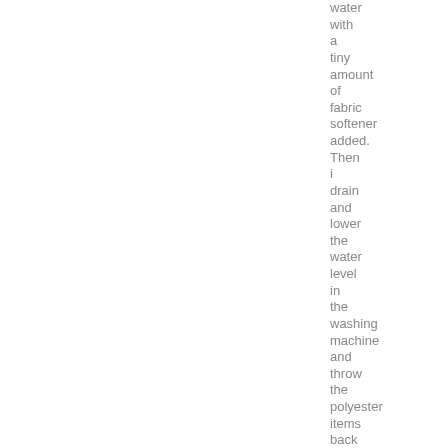water with a tiny amount of fabric softener added. Then i drain and lower the water level in the washing machine and throw the polyester items back in and spin